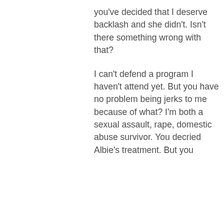you've decided that I deserve backlash and she didn't. Isn't there something wrong with that?
I can't defend a program I haven't attend yet. But you have no problem being jerks to me because of what? I'm both a sexual assault, rape, domestic abuse survivor. You decried Albie's treatment. But you